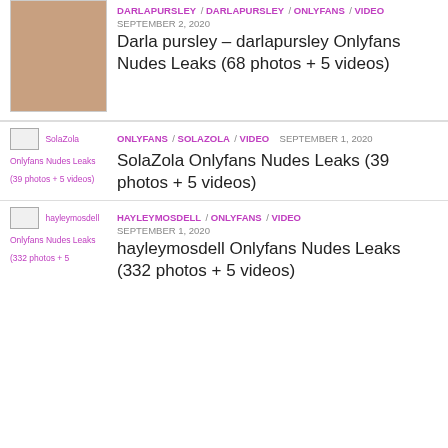[Figure (photo): Thumbnail photo for Darla pursley post]
DARLAPURSLEY / DARLAPURSLEY / ONLYFANS / VIDEO  SEPTEMBER 2, 2020
Darla pursley – darlapursley Onlyfans Nudes Leaks (68 photos + 5 videos)
[Figure (photo): Broken image thumbnail for SolaZola Onlyfans Nudes Leaks (39 photos + 5 videos)]
ONLYFANS / SOLAZOLA / VIDEO  SEPTEMBER 1, 2020
SolaZola Onlyfans Nudes Leaks (39 photos + 5 videos)
[Figure (photo): Broken image thumbnail for hayleymosdell Onlyfans Nudes Leaks (332 photos + 5 videos)]
HAYLEYMOSDELL / ONLYFANS / VIDEO  SEPTEMBER 1, 2020
hayleymosdell Onlyfans Nudes Leaks (332 photos + 5 videos)